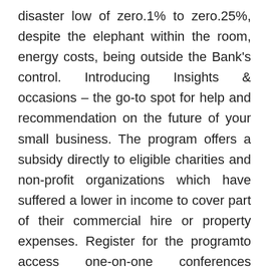disaster low of zero.1% to zero.25%, despite the elephant within the room, energy costs, being outside the Bank's control. Introducing Insights & occasions – the go-to spot for help and recommendation on the future of your small business. The program offers a subsidy directly to eligible charities and non-profit organizations which have suffered a lower in income to cover part of their commercial hire or property expenses. Register for the programto access one-on-one conferences withprogram advisors,webinarsand different sources.
The right tool matches the job to be carried out, so step one to incomes back some of your time is↑ figuring out which streams of work frequently eat up portions of your time. Understanding the method to begin a small business additionally requires understanding authorized obligations. Before diving